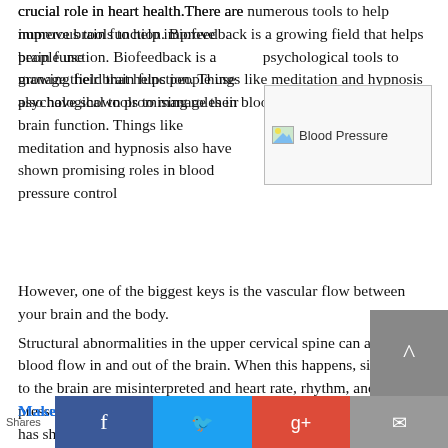crucial role in heart health.There are numerous tools to help improve brain function. Biofeedback is a growing field that helps people use psychological tools to manage their brain function. Things like meditation and hypnosis also have shown promising roles in blood pressure control
[Figure (photo): Blood Pressure image placeholder with broken image icon and alt text 'Blood Pressure']
However, one of the biggest keys is the vascular flow between your brain and the body. Structural abnormalities in the upper cervical spine can alter the blood flow in and out of the brain. When this happens, signals to the brain are misinterpreted and heart rate, rhythm, and blood pressure can be thrown off. Particularly, the area of the Atlas has shown to be a sensitive area that can have a huge impact on blood pressure (8,9)
Make the switch: How does one see if their structure is
Shares  [Facebook] [Twitter] [Google+] [Email]